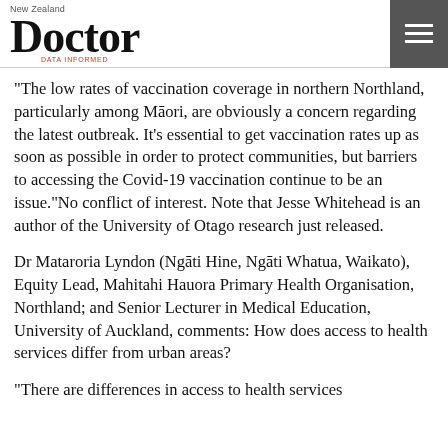New Zealand Doctor
"The low rates of vaccination coverage in northern Northland, particularly among Māori, are obviously a concern regarding the latest outbreak. It's essential to get vaccination rates up as soon as possible in order to protect communities, but barriers to accessing the Covid-19 vaccination continue to be an issue."No conflict of interest. Note that Jesse Whitehead is an author of the University of Otago research just released.
Dr Mataroria Lyndon (Ngāti Hine, Ngāti Whatua, Waikato), Equity Lead, Mahitahi Hauora Primary Health Organisation, Northland; and Senior Lecturer in Medical Education, University of Auckland, comments: How does access to health services differ from urban areas?
"There are differences in access to health services